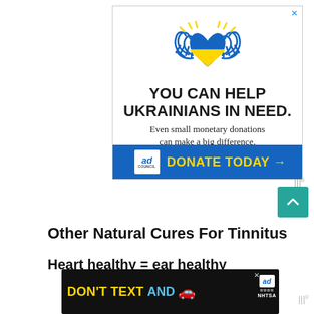[Figure (infographic): Ukraine charity ad banner: hands holding a blue and yellow heart with Ukrainian flag colors, text 'YOU CAN HELP UKRAINIANS IN NEED. Even small monetary donations can make a big difference.' with blue footer showing Ad Council logo and 'DONATE TODAY →' in yellow text on blue background.]
[Figure (infographic): Green scroll-to-top button with upward chevron arrow, with grey signal/wifi dots above it.]
Other Natural Cures For Tinnitus
Heart healthy = ear healthy
[Figure (infographic): NHTSA ad banner on dark background: 'DON'T TEXT AND' in yellow/cyan Impact font with a red car emoji, Ad Council logo, and NHTSA branding on the right side.]